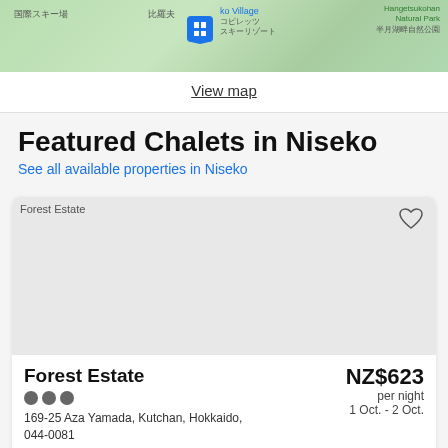[Figure (map): Map of Niseko area showing local landmarks in Japanese and English, with a hotel icon marker]
View map
Featured Chalets in Niseko
See all available properties in Niseko
[Figure (photo): Forest Estate property image placeholder]
Forest Estate
NZ$623 per night 1 Oct. - 2 Oct.
169-25 Aza Yamada, Kutchan, Hokkaido, 044-0081